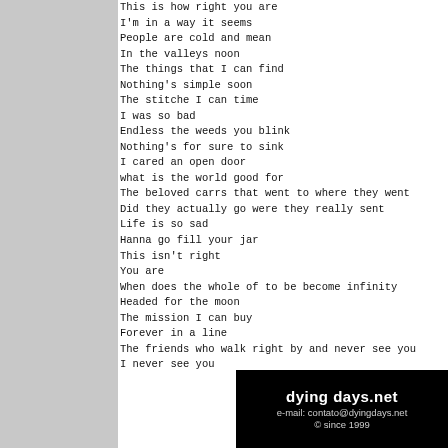This is how right you are
I'm in a way it seems
People are cold and mean
In the valleys noon
The things that I can find
Nothing's simple soon
The stitche I can time
I was so bad
Endless the weeds you blink
Nothing's for sure to sink
I cared an open door
what is the world good for
The beloved carrs that went to where they went
Did they actually go were they really sent
Life is so sad
Hanna go fill your jar
This isn't right
You are
When does the whole of to be become infinity
Headed for the moon
The mission I can buy
Forever in a line
The friends who walk right by and never see you
I never see you
dying days.net
e-mail: contato@dyingdays.net
© since 1999